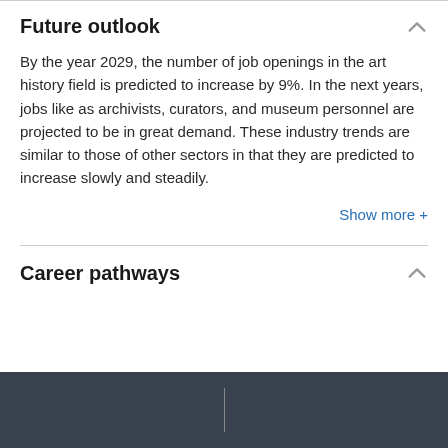Future outlook
By the year 2029, the number of job openings in the art history field is predicted to increase by 9%. In the next years, jobs like as archivists, curators, and museum personnel are projected to be in great demand. These industry trends are similar to those of other sectors in that they are predicted to increase slowly and steadily.
Show more +
Career pathways